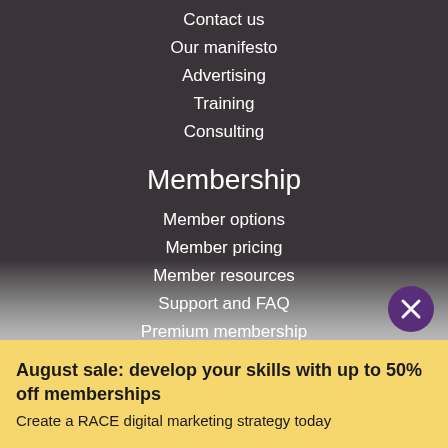Contact us
Our manifesto
Advertising
Training
Consulting
Membership
Member options
Member pricing
Member resources
Support and FAQ
Premium membership
Business membership
Resources
Free resources
August sale: develop your skills with up to 50% off memberships
Create a RACE digital marketing strategy today